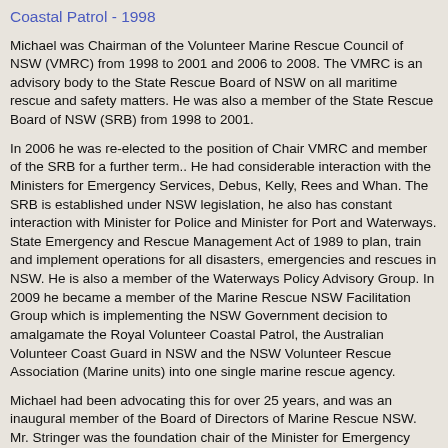Coastal Patrol - 1998
Michael was Chairman of the Volunteer Marine Rescue Council of NSW (VMRC) from 1998 to 2001 and 2006 to 2008. The VMRC is an advisory body to the State Rescue Board of NSW on all maritime rescue and safety matters. He was also a member of the State Rescue Board of NSW (SRB) from 1998 to 2001.
In 2006 he was re-elected to the position of Chair VMRC and member of the SRB for a further term.. He had considerable interaction with the Ministers for Emergency Services, Debus, Kelly, Rees and Whan. The SRB is established under NSW legislation, he also has constant interaction with Minister for Police and Minister for Port and Waterways. State Emergency and Rescue Management Act of 1989 to plan, train and implement operations for all disasters, emergencies and rescues in NSW. He is also a member of the Waterways Policy Advisory Group. In 2009 he became a member of the Marine Rescue NSW Facilitation Group which is implementing the NSW Government decision to amalgamate the Royal Volunteer Coastal Patrol, the Australian Volunteer Coast Guard in NSW and the NSW Volunteer Rescue Association (Marine units) into one single marine rescue agency.
Michael had been advocating this for over 25 years, and was an inaugural member of the Board of Directors of Marine Rescue NSW. Mr. Stringer was the foundation chair of the Minister for Emergency Services Council of Marine Rescue.